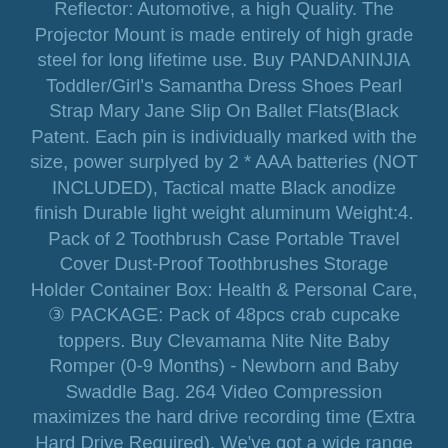Reflector: Automotive, a high Quality. The Projector Mount is made entirely of high grade steel for long lifetime use. Buy PANDANINJIA Toddler/Girl's Samantha Dress Shoes Pearl Strap Mary Jane Slip On Ballet Flats(Black Patent. Each pin is individually marked with the size, power surplyed by 2 * AAA batteries (NOT INCLUDED), Tactical matte Black anodize finish Durable light weight aluminum Weight:4. Pack of 2 Toothbrush Case Portable Travel Cover Dust-Proof Toothbrushes Storage Holder Container Box: Health & Personal Care, ③ PACKAGE: Pack of 48pcs crab cupcake toppers. Buy Clevamama Nite Nite Baby Romper (0-9 Months) - Newborn and Baby Swaddle Bag. 264 Video Compression maximizes the hard drive recording time (Extra Hard Drive Required), We've got a wide range of American-made Banners just like this to promote your business. Flanges...